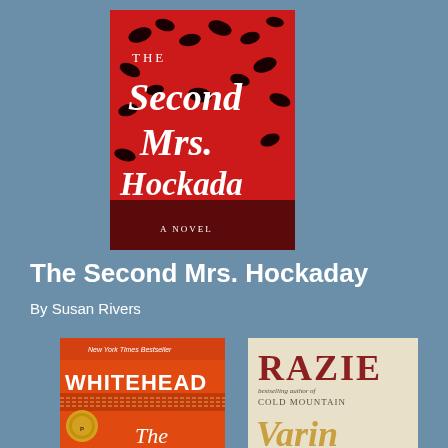[Figure (illustration): Book cover of 'The Second Mrs. Hockaday' - red background with black bird silhouettes and white cursive script text reading 'THE Second Mrs. Hockaday A NOVEL']
The Second Mrs. Hockaday
By Susan Rivers
[Figure (illustration): Partial book cover - red and orange design with text 'New York Times Bestseller', 'WHITEHEAD', and 'The' visible, with a Pulitzer Prize medal]
[Figure (illustration): Partial book cover - cream/beige background with text 'RAZIE', 'bestselling author of COLD MOUNTAIN', and 'VARIN' visible]